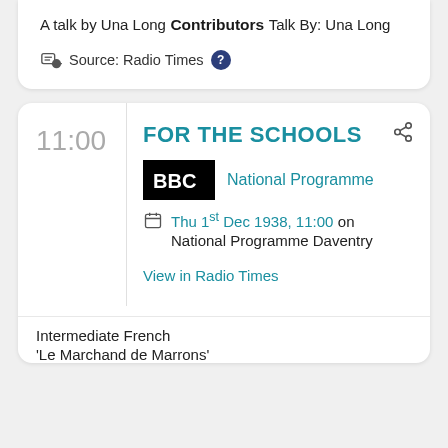A talk by Una Long
Contributors
Talk By:  Una Long
Source: Radio Times
11:00
FOR THE SCHOOLS
National Programme
Thu 1st Dec 1938, 11:00 on National Programme Daventry
View in Radio Times
Intermediate French
'Le Marchand de Marrons'